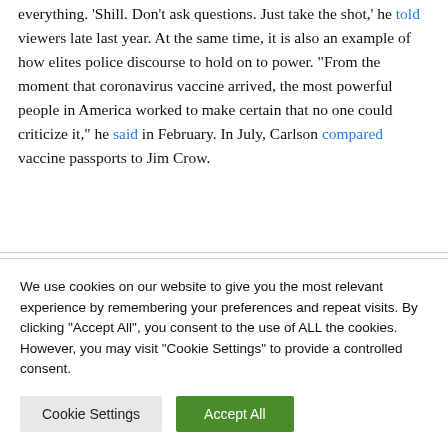everything. 'Shill. Don't ask questions. Just take the shot,' he told viewers late last year. At the same time, it is also an example of how elites police discourse to hold on to power. "From the moment that coronavirus vaccine arrived, the most powerful people in America worked to make certain that no one could criticize it," he said in February. In July, Carlson compared vaccine passports to Jim Crow.
[Figure (logo): Accessibility icon — blue circle with white wheelchair user figure]
above all, Carlson portrays bad faith attacks as good faith inquiries, simple questions that should be answered by
We use cookies on our website to give you the most relevant experience by remembering your preferences and repeat visits. By clicking "Accept All", you consent to the use of ALL the cookies. However, you may visit "Cookie Settings" to provide a controlled consent.